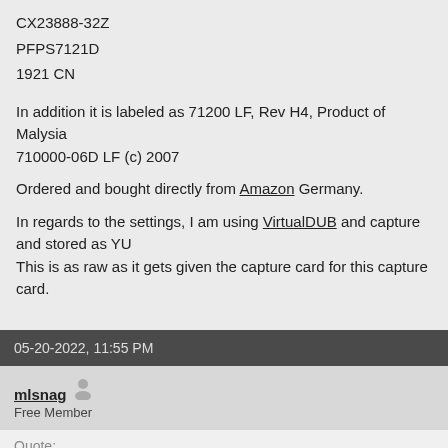CX23888-32Z
PFPS7121D
1921 CN
In addition it is labeled as 71200 LF, Rev H4, Product of Malysia 710000-06D LF (c) 2007
Ordered and bought directly from Amazon Germany.
In regards to the settings, I am using VirtualDUB and capture and stored as YU This is as raw as it gets given the capture card for this capture card.
05-20-2022, 11:55 PM
mlsnag
Free Member
Quote:
Originally Posted by Xood
@mlsnag, I just signed up to give you an answer from my side.